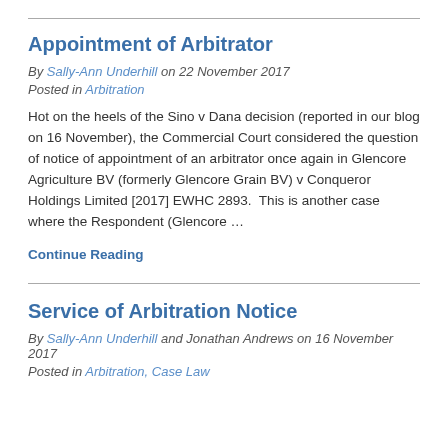Appointment of Arbitrator
By Sally-Ann Underhill on 22 November 2017
Posted in Arbitration
Hot on the heels of the Sino v Dana decision (reported in our blog on 16 November), the Commercial Court considered the question of notice of appointment of an arbitrator once again in Glencore Agriculture BV (formerly Glencore Grain BV) v Conqueror Holdings Limited [2017] EWHC 2893.  This is another case where the Respondent (Glencore …
Continue Reading
Service of Arbitration Notice
By Sally-Ann Underhill and Jonathan Andrews on 16 November 2017
Posted in Arbitration, Case Law